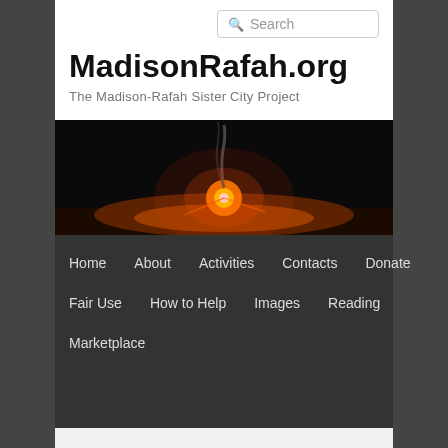Search
MadisonRafah.org
The Madison-Rafah Sister City Project
[Figure (photo): Night-time photo of a bright orange explosion or flare in the sky over a dark landscape, with smoke rising.]
Home
About
Activities
Contacts
Donate
Fair Use
How to Help
Images
Reading
Marketplace